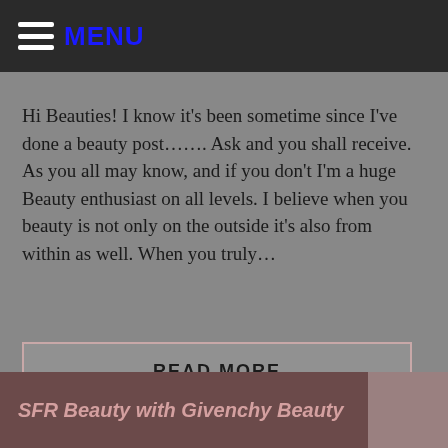MENU
Hi Beauties! I know it’s been sometime since I’ve done a beauty post……. Ask and you shall receive. As you all may know, and if you don’t I’m a huge Beauty enthusiast on all levels. I believe when you beauty is not only on the outside it’s also from within as well. When you truly…
READ MORE
SFR Beauty with Givenchy Beauty